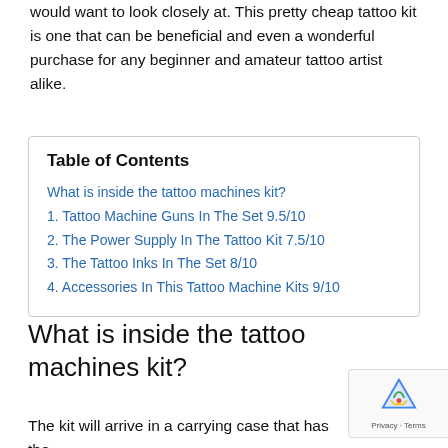would want to look closely at. This pretty cheap tattoo kit is one that can be beneficial and even a wonderful purchase for any beginner and amateur tattoo artist alike.
| Table of Contents |
| What is inside the tattoo machines kit? |
| 1. Tattoo Machine Guns In The Set 9.5/10 |
| 2. The Power Supply In The Tattoo Kit 7.5/10 |
| 3. The Tattoo Inks In The Set 8/10 |
| 4. Accessories In This Tattoo Machine Kits 9/10 |
What is inside the tattoo machines kit?
The kit will arrive in a carrying case that has the